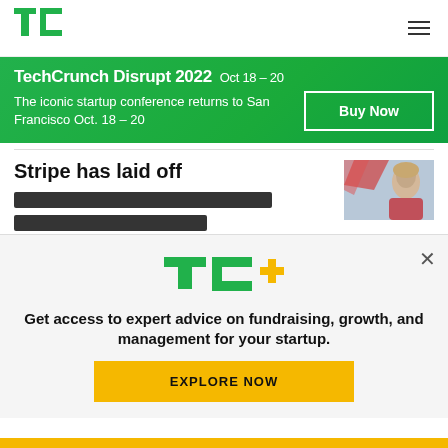TechCrunch — TC logo and hamburger menu
[Figure (infographic): TechCrunch Disrupt 2022 green banner advertisement: 'TechCrunch Disrupt 2022  Oct 18 - 20. The iconic startup conference returns to San Francisco Oct. 18 - 20. Buy Now button.']
Stripe has laid off
[Figure (photo): Thumbnail photo of a young man with light hair against a light blue background]
[Figure (infographic): TC+ popup overlay: TC+ logo, text 'Get access to expert advice on fundraising, growth, and management for your startup.', EXPLORE NOW button, and X close button]
Yellow bottom bar